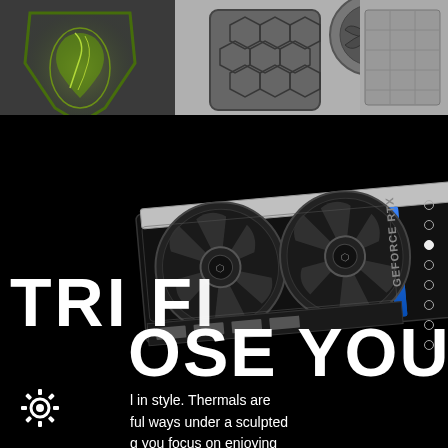[Figure (photo): Top banner showing MSI dragon logo on left (green/yellow glowing dragon on shield) and PC cooling hardware/fan components on right, gray metallic background]
[Figure (photo): MSI GeForce RTX graphics card with dual fans, black and silver design with blue accent stripe, angled 3/4 view on black background]
TRI FI... OSE YOUR COOL
l in style. Thermals are ful ways under a sculpted g you focus on enjoying )lory.